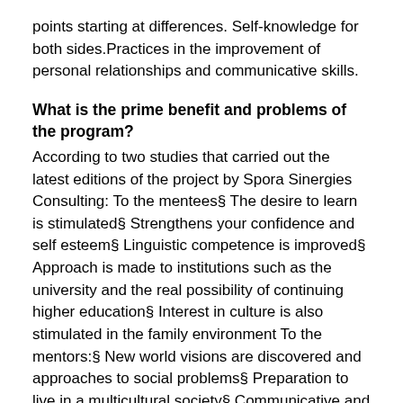points starting at differences. Self-knowledge for both sides.Practices in the improvement of personal relationships and communicative skills.
What is the prime benefit and problems of the program?
According to two studies that carried out the latest editions of the project by Spora Sinergies Consulting: To the mentees§ The desire to learn is stimulated§ Strengthens your confidence and self esteem§ Linguistic competence is improved§ Approach is made to institutions such as the university and the real possibility of continuing higher education§ Interest in culture is also stimulated in the family environment To the mentors:§ New world visions are discovered and approaches to social problems§ Preparation to live in a multicultural society§ Communicative and relationship skills are encouraged